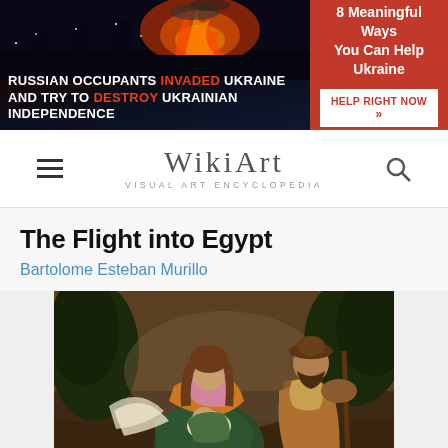[Figure (photo): Ukraine war banner: dark background with fire/explosion on right side, text 'RUSSIAN OCCUPANTS INVADED UKRAINE AND TRY TO DESTROY UKRAINIAN INDEPENDENCE' in white and orange-red bold uppercase]
8 Meaningful Ways You Can Help Ukraine
HELP RIGHT NOW >>
[Figure (logo): WikiArt Visual Art Encyclopedia logo with hamburger menu icon on left and search icon on right]
The Flight into Egypt
Bartolome Esteban Murillo
[Figure (photo): Painting 'The Flight into Egypt' by Bartolome Esteban Murillo showing Mary holding baby Jesus with Joseph standing to the right, dark earthy background with trees]